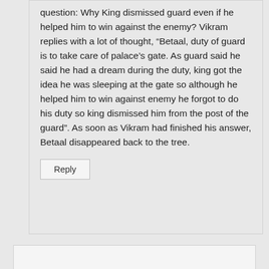question: Why King dismissed guard even if he helped him to win against the enemy? Vikram replies with a lot of thought, “Betaal, duty of guard is to take care of palace’s gate. As guard said he said he had a dream during the duty, king got the idea he was sleeping at the gate so although he helped him to win against enemy he forgot to do his duty so king dismissed him from the post of the guard”. As soon as Vikram had finished his answer, Betaal disappeared back to the tree.
Reply